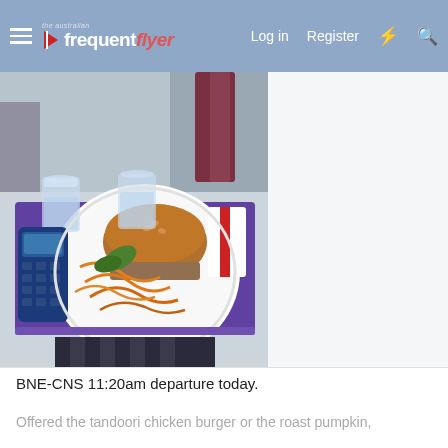the australian frequent flyer — Log in   Register
[Figure (photo): Airplane meal tray on a Virgin Australia Business class seat. A white round plate holds a tandoori chicken burger with shredded carrot salad and leafy greens. Two glasses of water are on the purple tray table. A remote control device is visible on the left side.]
BNE-CNS 11:20am departure today.
Offered the tandoori chicken burger or the roast pumpkin,